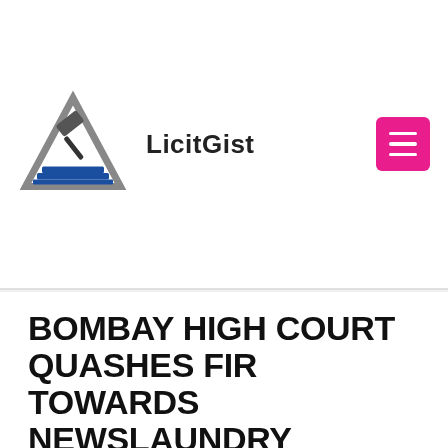LicitGist
BOMBAY HIGH COURT QUASHES FIR TOWARDS NEWSLAUNDRY REPORTER IN TRADEMARK INFRINGEMENT CASE THROUGH SAKAL MEDIA GROUP